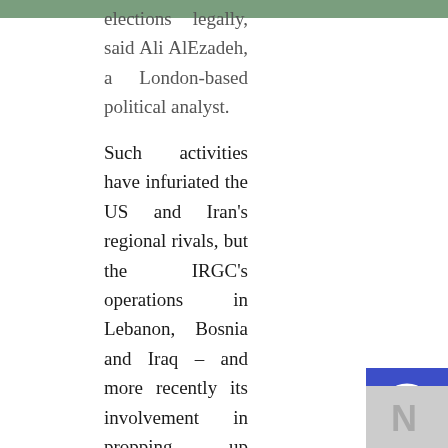elections legally, said Ali Alizadeh, a London-based political analyst.
Such activities have infuriated the US and Iran's regional rivals, but the IRGC's operations in Lebanon, Bosnia and Iraq – and more recently its involvement in propping up Syria's Bashar al-Assad – have hugely endeared them to Khamenei.
The US also alleges that Iran has been behind a series of bombings in Iraq that has led to the death of US military personnel, accusations that Iranian officials say are not substantiated. A string of senior IRGC and Quds force officers are already blacklisted and subject to US sanctions.
Despite the dying wishes of Khomeini, the IRGC